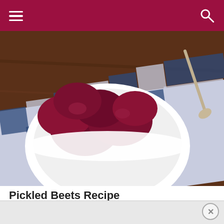Navigation bar with hamburger menu and search icon
[Figure (photo): Overhead photo of pickled beets in a white ceramic bowl placed on a blue and white checkered cloth on a wooden surface. A spoon is visible at the top right.]
Pickled Beets Recipe
Let's get started!
Thoroughly scrub and wash the beets.  Leave the skins on or they will bleed while boiling and lose their color.